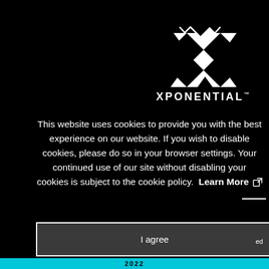[Figure (logo): Xponential Fitness logo — white geometric X diamond shape with the word XPONENTIAL in white capital letters below]
This website uses cookies to provide you with the best experience on our website. If you wish to disable cookies, please do so in your browser settings. Your continued use of our site without disabling your cookies is subject to the cookie policy.  Learn More
I agree
2022